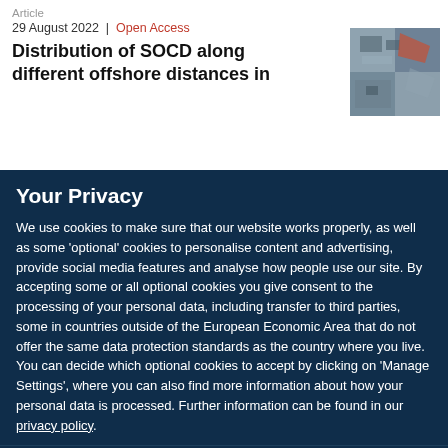Article
29 August 2022  |  Open Access
Distribution of SOCD along different offshore distances in
Your Privacy
We use cookies to make sure that our website works properly, as well as some ‘optional’ cookies to personalise content and advertising, provide social media features and analyse how people use our site. By accepting some or all optional cookies you give consent to the processing of your personal data, including transfer to third parties, some in countries outside of the European Economic Area that do not offer the same data protection standards as the country where you live. You can decide which optional cookies to accept by clicking on ‘Manage Settings’, where you can also find more information about how your personal data is processed. Further information can be found in our privacy policy.
Accept all cookies
Manage preferences